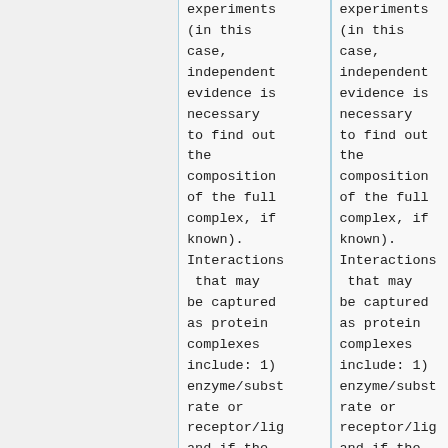experiments (in this case, independent evidence is necessary to find out the composition of the full complex, if known). Interactions that may be captured as protein complexes include: 1) enzyme/substrate or receptor/ligand if the
experiments (in this case, independent evidence is necessary to find out the composition of the full complex, if known). Interactions that may be captured as protein complexes include: 1) enzyme/substrate or receptor/ligand if the